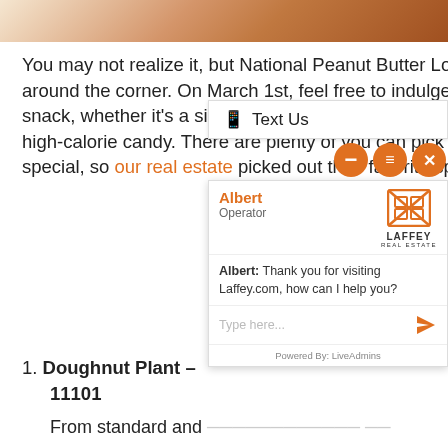[Figure (photo): Top portion of a food image, likely peanut butter or a pastry, warm orange-brown tones]
You may not realize it, but National Peanut Butter Lover's Day is right around the corner. On March 1st, feel free to indulge in your favorite snack, whether it's a simple peanut butter and jelly sandwich or a high-calorie candy. There are plenty of you can pick up something special, so our real estate picked out their favorite spots and treats.
1. Doughnut Plant – 11101
From standard and doughnuts to vegan and gluten-free selections, Do special day, we'd s peanut butter and coffee. If you're lo must also take ho huge, three-ring yeast donut that you design yourself. Be
[Figure (screenshot): Live chat widget overlay from Laffey Real Estate. Shows 'Text Us' button bar, orange minimize/menu/close buttons, Laffey Real Estate logo, agent name Albert (Operator), and chat message: Albert: Thank you for visiting Laffey.com, how can I help you? With text input field and Powered By: LiveAdmins footer.]